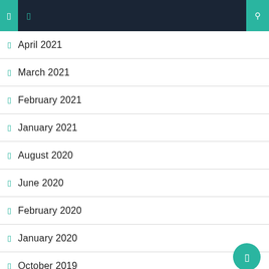Navigation header bar with menu icons and search
April 2021
March 2021
February 2021
January 2021
August 2020
June 2020
February 2020
January 2020
October 2019
June 2019